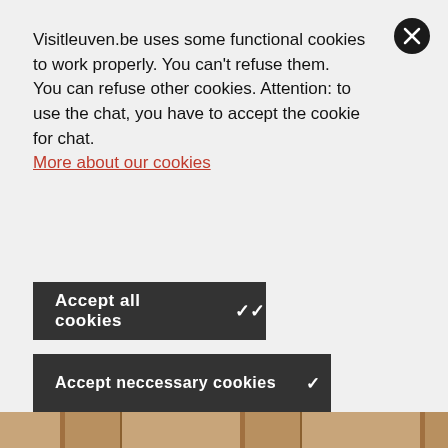Visitleuven.be uses some functional cookies to work properly. You can't refuse them.
You can refuse other cookies. Attention: to use the chat, you have to accept the cookie for chat.
More about our cookies
Accept all cookies ✓✓
Accept neccessary cookies ✓
Choose cookies >
[Figure (photo): Partial view of a photo strip at the bottom showing wooden/textile materials in warm brown tones]